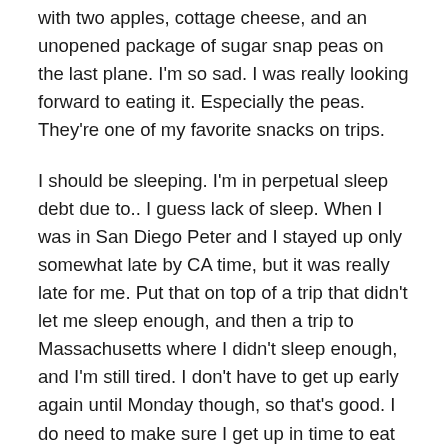with two apples, cottage cheese, and an unopened package of sugar snap peas on the last plane. I'm so sad. I was really looking forward to eating it. Especially the peas. They're one of my favorite snacks on trips.
I should be sleeping. I'm in perpetual sleep debt due to.. I guess lack of sleep. When I was in San Diego Peter and I stayed up only somewhat late by CA time, but it was really late for me. Put that on top of a trip that didn't let me sleep enough, and then a trip to Massachusetts where I didn't sleep enough, and I'm still tired. I don't have to get up early again until Monday though, so that's good. I do need to make sure I get up in time to eat the free breakfast and go running in the morning. I bought new earphones today. My old ones seemed to only be playing the bottom layer of all the music. It's really interesting to hear which songs